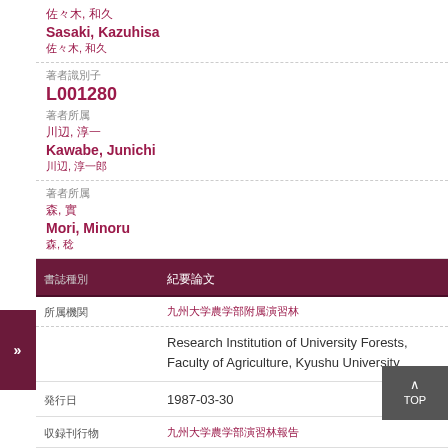佐々木, 和久 / Sasaki, Kazuhisa / 佐々木, 和久
L001280
川辺, 淳一 / Kawabe, Junichi / 川辺, 淳一郎
森, 實 / Mori, Minoru / 森, 稔
書誌種別: 紀要論文
所属機関: 九州大学農学部附属演習林
Research Institution of University Forests, Faculty of Agriculture, Kyushu University
発行日: 1987-03-30
収録刊行物: 九州大学農学部演習林報告